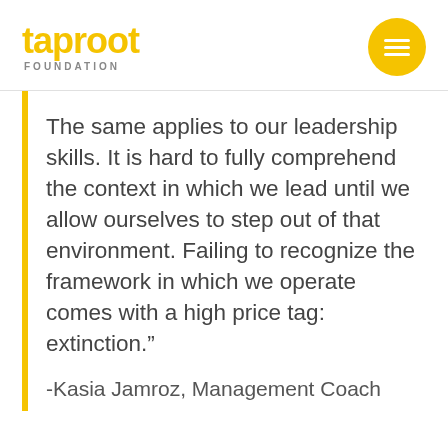taproot FOUNDATION
The same applies to our leadership skills. It is hard to fully comprehend the context in which we lead until we allow ourselves to step out of that environment. Failing to recognize the framework in which we operate comes with a high price tag: extinction.”
-Kasia Jamroz, Management Coach